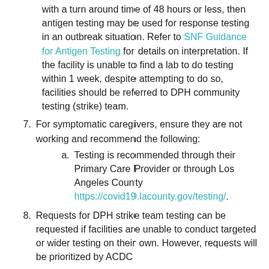with a turn around time of 48 hours or less, then antigen testing may be used for response testing in an outbreak situation. Refer to SNF Guidance for Antigen Testing for details on interpretation. If the facility is unable to find a lab to do testing within 1 week, despite attempting to do so, facilities should be referred to DPH community testing (strike) team.
7. For symptomatic caregivers, ensure they are not working and recommend the following:
a. Testing is recommended through their Primary Care Provider or through Los Angeles County https://covid19.lacounty.gov/testing/.
8. Requests for DPH strike team testing can be requested if facilities are unable to conduct targeted or wider testing on their own. However, requests will be prioritized by ACDC